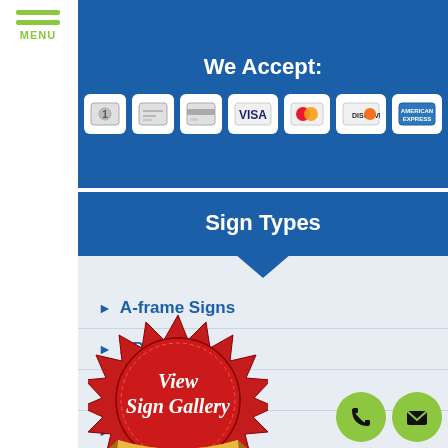[Figure (infographic): Hamburger menu icon with three green lines and MENU text below]
We Accept:
[Figure (infographic): Payment method icons: cash, check, credit card, VISA, Mastercard, Discover, American Express]
Sign Types
A-frame Signs
ADA Signs
Acrylic Signs
Address Signs
Awning Signs
[Figure (illustration): Red stamp badge with View Sign Gallery text and gold ribbon Click Here banner]
[Figure (infographic): Green circular phone button and green circular email/envelope button in bottom right corner]